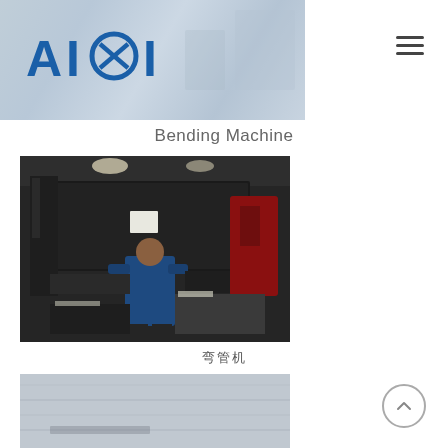AIXI logo and navigation header with industrial background
Bending Machine
[Figure (photo): Industrial bending machine in a factory setting with a worker in a blue jacket operating the machine from behind. Various equipment and materials visible around the workspace.]
弯管机
[Figure (photo): Bottom partial photo of industrial equipment, appears gray/metallic surface.]